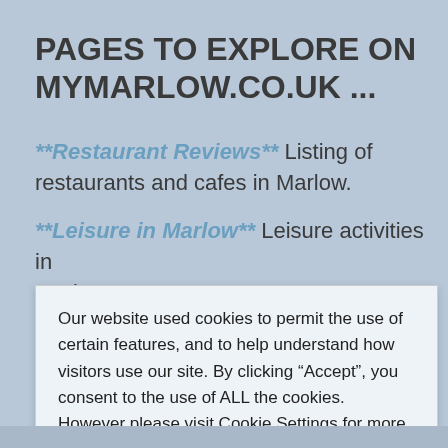PAGES TO EXPLORE ON MYMARLOW.CO.UK ...
**Restaurant Reviews** Listing of restaurants and cafes in Marlow.
**Leisure in Marlow** Leisure activities in Marlow...
Our website used cookies to permit the use of certain features, and to help understand how visitors use our site. By clicking “Accept”, you consent to the use of ALL the cookies. However please visit Cookie Settings for more consent options.
Cookie settings | ACCEPT